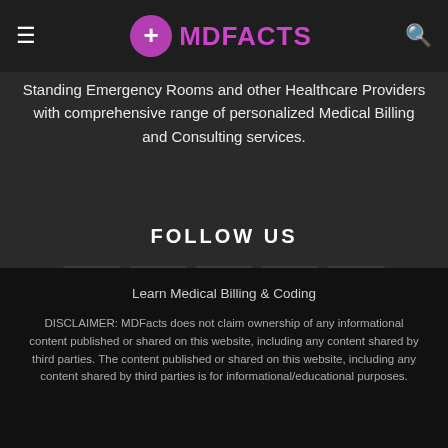MDFACTS
Standing Emergency Rooms and other Healthcare Providers with comprehensive range of personalized Medical Billing and Consulting services.
FOLLOW US
[Figure (other): Social media icon buttons: Facebook, Instagram, LinkedIn, Pinterest, Twitter]
Learn Medical Billing & Coding

DISCLAIMER: MDFacts does not claim ownership of any informational content published or shared on this website, including any content shared by third parties. The content published or shared on this website, including any content shared by third parties is for informational/educational purposes.